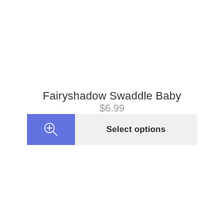Fairyshadow Swaddle Baby
$6.99
[Figure (screenshot): Two-part button row: left blue square button with a magnifying glass plus icon, right light grey button with bold text 'Select options']